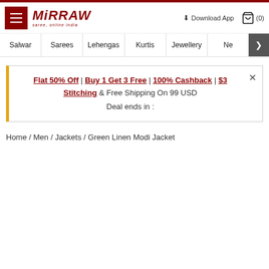Mirraw - saree, online india | Download App | (0)
Salwar | Sarees | Lehengas | Kurtis | Jewellery | Ne >
Flat 50% Off | Buy 1 Get 3 Free | 100% Cashback | $3 Stitching & Free Shipping On 99 USD
Deal ends in :
Home / Men / Jackets / Green Linen Modi Jacket